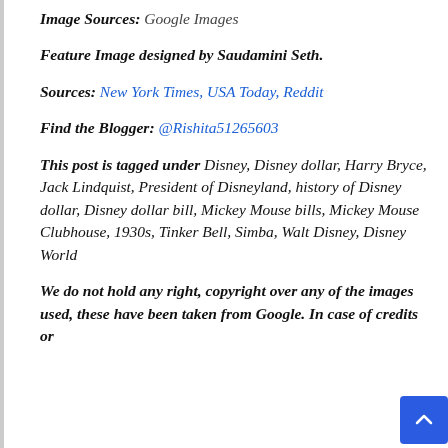Image Sources: Google Images
Feature Image designed by Saudamini Seth.
Sources: New York Times, USA Today, Reddit
Find the Blogger: @Rishita51265603
This post is tagged under Disney, Disney dollar, Harry Bryce, Jack Lindquist, President of Disneyland, history of Disney dollar, Disney dollar bill, Mickey Mouse bills, Mickey Mouse Clubhouse, 1930s, Tinker Bell, Simba, Walt Disney, Disney World
We do not hold any right, copyright over any of the images used, these have been taken from Google. In case of credits or